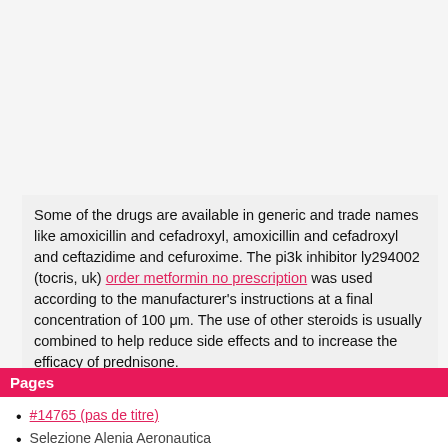Some of the drugs are available in generic and trade names like amoxicillin and cefadroxyl, amoxicillin and cefadroxyl and ceftazidime and cefuroxime. The pi3k inhibitor ly294002 (tocris, uk) order metformin no prescription was used according to the manufacturer's instructions at a final concentration of 100 μm. The use of other steroids is usually combined to help reduce side effects and to increase the efficacy of prednisone.
Pages
#14765 (pas de titre)
Selezione Alenia Aeronautica